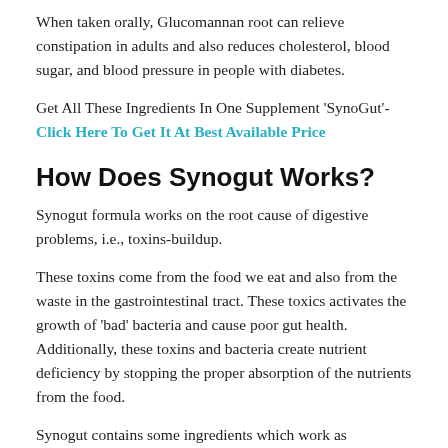When taken orally, Glucomannan root can relieve constipation in adults and also reduces cholesterol, blood sugar, and blood pressure in people with diabetes.
Get All These Ingredients In One Supplement 'SynoGut'- Click Here To Get It At Best Available Price
How Does Synogut Works?
Synogut formula works on the root cause of digestive problems, i.e., toxins-buildup.
These toxins come from the food we eat and also from the waste in the gastrointestinal tract. These toxics activates the growth of 'bad' bacteria and cause poor gut health. Additionally, these toxins and bacteria create nutrient deficiency by stopping the proper absorption of the nutrients from the food.
Synogut contains some ingredients which work as detoxifying agents and eliminates these toxins from the body. In addition, it contains probiotics that feeds 'good' bacteria and eliminates 'bad' bacteria in the